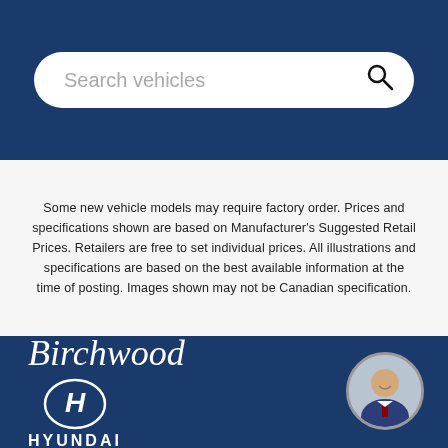[Figure (screenshot): Search bar with placeholder text 'Search vehicles' and a search icon on the right, on a dark navy blue background]
Some new vehicle models may require factory order. Prices and specifications shown are based on Manufacturer's Suggested Retail Prices. Retailers are free to set individual prices. All illustrations and specifications are based on the best available information at the time of posting. Images shown may not be Canadian specification.
[Figure (logo): Birchwood Hyundai logo: 'Birchwood' in cursive white script above the Hyundai oval H badge and 'HYUNDAI' wordmark in white on dark navy background]
[Figure (photo): Circular avatar photo of a smiling young man in a suit with a tie, in the bottom right corner]